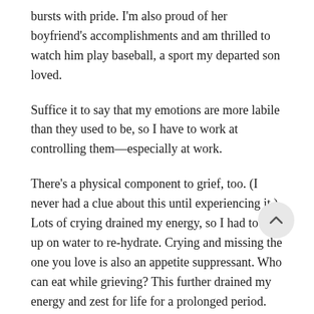bursts with pride. I'm also proud of her boyfriend's accomplishments and am thrilled to watch him play baseball, a sport my departed son loved.
Suffice it to say that my emotions are more labile than they used to be, so I have to work at controlling them—especially at work.
There's a physical component to grief, too. (I never had a clue about this until experiencing it.) Lots of crying drained my energy, so I had to tank up on water to re-hydrate. Crying and missing the one you love is also an appetite suppressant. Who can eat while grieving? This further drained my energy and zest for life for a prolonged period.
Over the last seven years, however, I've regained an extraordinary amount of mental acuity, but I feel like